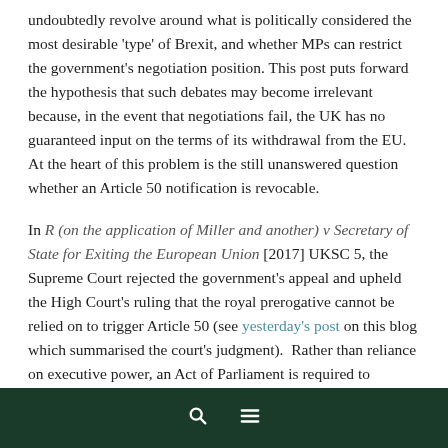undoubtedly revolve around what is politically considered the most desirable 'type' of Brexit, and whether MPs can restrict the government's negotiation position. This post puts forward the hypothesis that such debates may become irrelevant because, in the event that negotiations fail, the UK has no guaranteed input on the terms of its withdrawal from the EU. At the heart of this problem is the still unanswered question whether an Article 50 notification is revocable.
In R (on the application of Miller and another) v Secretary of State for Exiting the European Union [2017] UKSC 5, the Supreme Court rejected the government's appeal and upheld the High Court's ruling that the royal prerogative cannot be relied on to trigger Article 50 (see yesterday's post on this blog which summarised the court's judgment). Rather than reliance on executive power, an Act of Parliament is required to
🔍 ☰